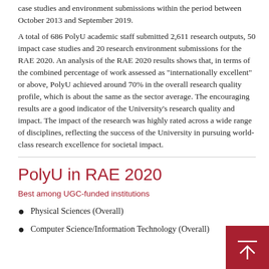case studies and environment submissions within the period between October 2013 and September 2019.
A total of 686 PolyU academic staff submitted 2,611 research outputs, 50 impact case studies and 20 research environment submissions for the RAE 2020. An analysis of the RAE 2020 results shows that, in terms of the combined percentage of work assessed as "internationally excellent" or above, PolyU achieved around 70% in the overall research quality profile, which is about the same as the sector average. The encouraging results are a good indicator of the University's research quality and impact. The impact of the research was highly rated across a wide range of disciplines, reflecting the success of the University in pursuing world-class research excellence for societal impact.
PolyU in RAE 2020
Best among UGC-funded institutions
Physical Sciences (Overall)
Computer Science/Information Technology (Overall)